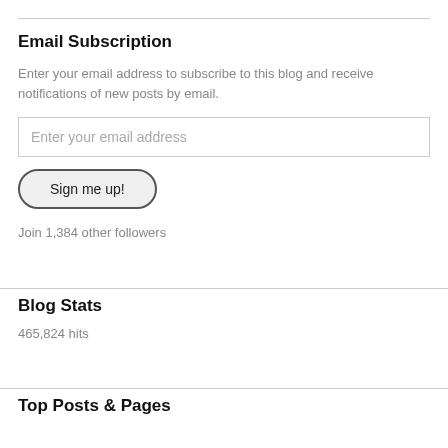Email Subscription
Enter your email address to subscribe to this blog and receive notifications of new posts by email.
Enter your email address
Sign me up!
Join 1,384 other followers
Blog Stats
465,824 hits
Top Posts & Pages